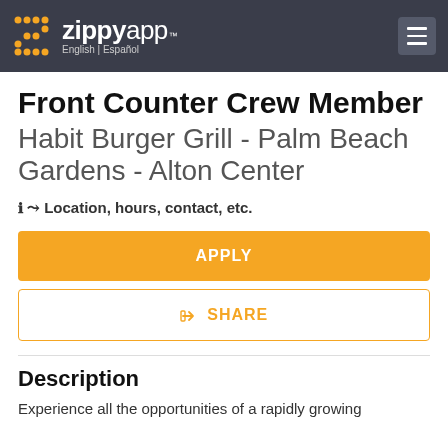ZippyApp™ English | Español
Front Counter Crew Member
Habit Burger Grill - Palm Beach Gardens - Alton Center
Location, hours, contact, etc.
APPLY
SHARE
Description
Experience all the opportunities of a rapidly growing